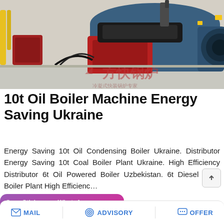[Figure (photo): Industrial oil boiler machines in a factory setting. Large blue cylindrical boiler with red burner attachment visible. Chinese watermark text '方快锅炉' on the image.]
10t Oil Boiler Machine Energy Saving Ukraine
Energy Saving 10t Oil Condensing Boiler Ukraine. Distributor Energy Saving 10t Coal Boiler Plant Ukraine. High Efficiency Distributor 6t Oil Powered Boiler Uzbekistan. 6t Diesel Fired Boiler Plant High Efficiency...
[Figure (screenshot): WhatsApp sticker save overlay with purple-pink gradient background, showing 'Save Stickers on WhatsApp' label with WhatsApp and emoji app icons]
MAIL   ADVISORY   OFFER